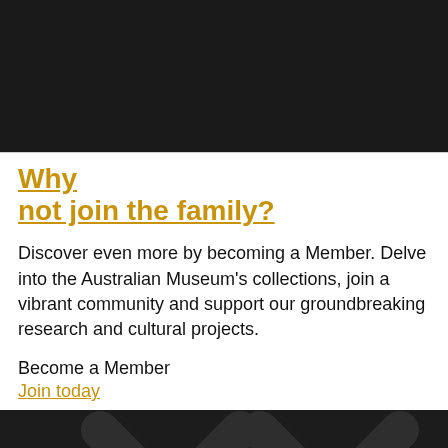[Figure (photo): Dark/black rectangular image at top of page]
Why not join the family?
Discover even more by becoming a Member. Delve into the Australian Museum's collections, join a vibrant community and support our groundbreaking research and cultural projects.
Become a Member
Join today
[Figure (illustration): Dark background with large stylized X pattern in slightly lighter dark tone]